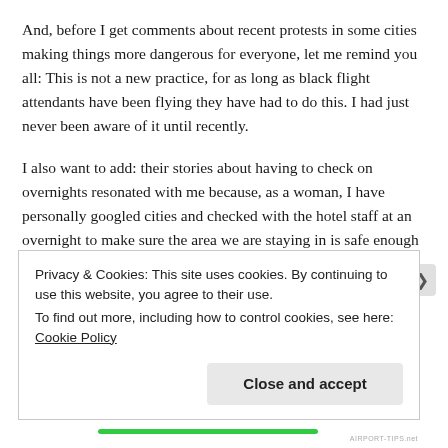And, before I get comments about recent protests in some cities making things more dangerous for everyone, let me remind you all: This is not a new practice, for as long as black flight attendants have been flying they have had to do this. I had just never been aware of it until recently.
I also want to add: their stories about having to check on overnights resonated with me because, as a woman, I have personally googled cities and checked with the hotel staff at an overnight to make sure the area we are staying in is safe enough for me to go out alone on a walk or to rollerskate, so I have a vague idea of what kinds of extra steps it takes to
Privacy & Cookies: This site uses cookies. By continuing to use this website, you agree to their use.
To find out more, including how to control cookies, see here: Cookie Policy
Close and accept